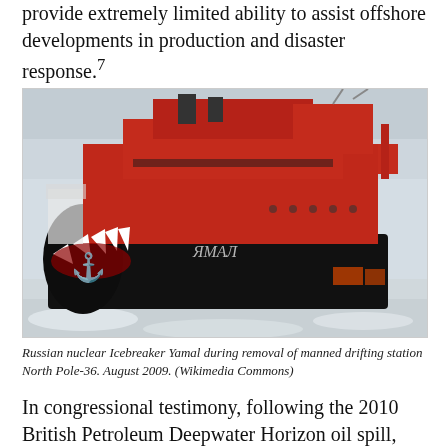provide extremely limited ability to assist offshore developments in production and disaster response.7
[Figure (photo): Russian nuclear icebreaker Yamal ship in icy Arctic waters. The ship is predominantly red with a black hull featuring a painted shark mouth with teeth design and anchor symbol. The vessel name ЯМАЛ is visible on the hull.]
Russian nuclear Icebreaker Yamal during removal of manned drifting station North Pole-36. August 2009. (Wikimedia Commons)
In congressional testimony, following the 2010 British Petroleum Deepwater Horizon oil spill, USCG Admiral